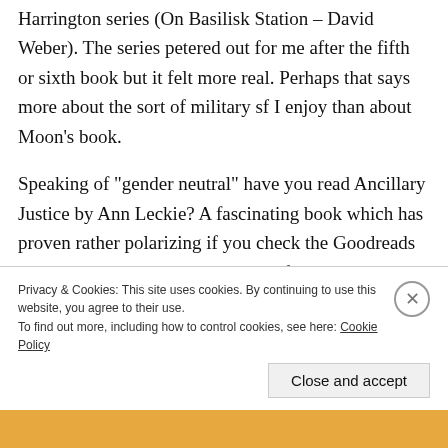Harrington series (On Basilisk Station – David Weber). The series petered out for me after the fifth or sixth book but it felt more real. Perhaps that says more about the sort of military sf I enjoy than about Moon's book.
Speaking of “gender neutral” have you read Ancillary Justice by Ann Leckie? A fascinating book which has proven rather polarizing if you check the Goodreads reviews, everyone in the book is referred to as “she.” There’s a reason
Privacy & Cookies: This site uses cookies. By continuing to use this website, you agree to their use.
To find out more, including how to control cookies, see here: Cookie Policy